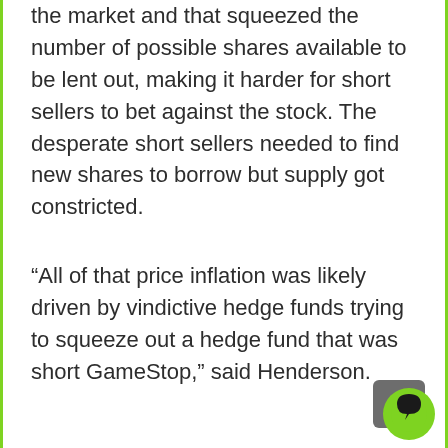the market and that squeezed the number of possible shares available to be lent out, making it harder for short sellers to bet against the stock. The desperate short sellers needed to find new shares to borrow but supply got constricted.
“All of that price inflation was likely driven by vindictive hedge funds trying to squeeze out a hedge fund that was short GameStop,” said Henderson.